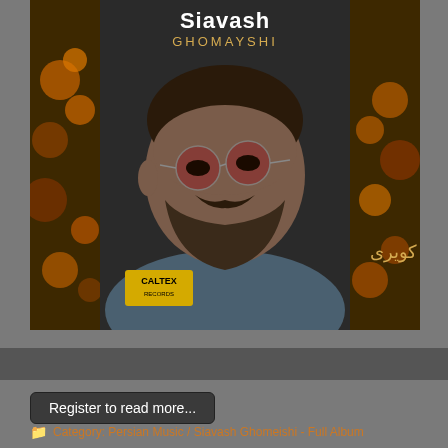[Figure (photo): Album cover for Siavash Ghomayshi - 'Shokoofehaye Kaviri'. Shows a middle-aged bearded man with round tinted glasses wearing a blue shirt, against a decorative gold frame background with floral elements. Text at top reads 'Siavash GHOMAYSHI' in white/gold. Persian text reads 'شکوفه های کویری'. Caltex Records logo in bottom left corner.]
Register to read more...
Category: Persian Music / Siavash Ghomeishi - Full Album